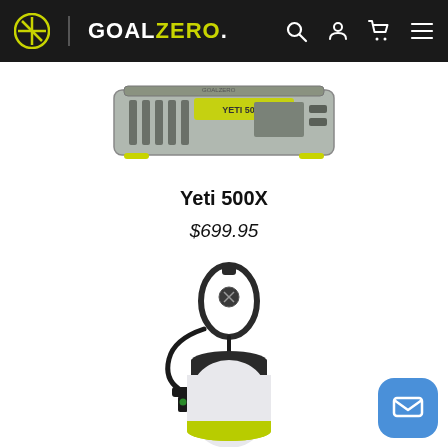GOAL ZERO navigation bar with logo, search, account, cart, and menu icons
[Figure (photo): Partial top view of Goal Zero Yeti 500X power station product photo, silver/grey with green accents and ventilation grille]
Yeti 500X
$699.95
[Figure (photo): Goal Zero light/lantern product with carabiner hook and DC cable attached, white barrel-shaped light with green Goal Zero branded ring at bottom]